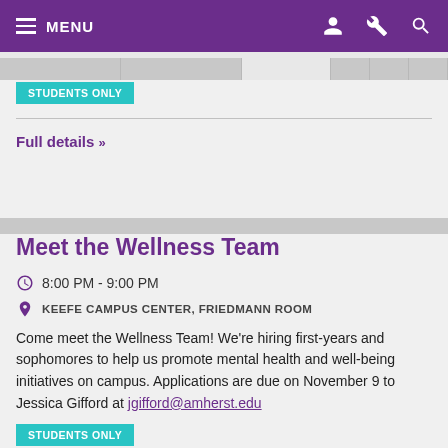MENU
STUDENTS ONLY
Full details »
Meet the Wellness Team
8:00 PM - 9:00 PM
KEEFE CAMPUS CENTER, FRIEDMANN ROOM
Come meet the Wellness Team! We're hiring first-years and sophomores to help us promote mental health and well-being initiatives on campus. Applications are due on November 9 to Jessica Gifford at jgifford@amherst.edu
STUDENTS ONLY